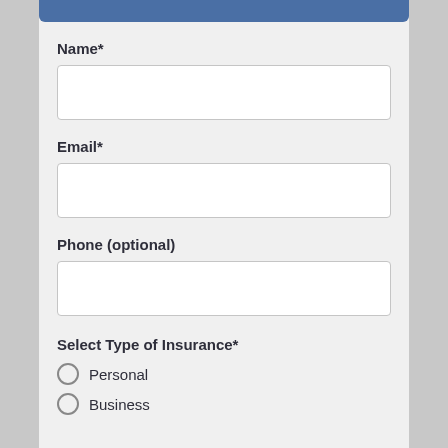[Figure (screenshot): Blue header bar at top of form]
Name*
[Figure (screenshot): Empty text input field for Name]
Email*
[Figure (screenshot): Empty text input field for Email]
Phone (optional)
[Figure (screenshot): Empty text input field for Phone]
Select Type of Insurance*
Personal
Business